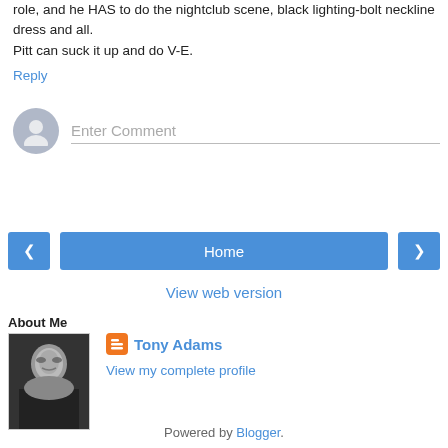role, and he HAS to do the nightclub scene, black lighting-bolt neckline dress and all.
Pitt can suck it up and do V-E.
Reply
[Figure (other): Comment input area with avatar icon and Enter Comment placeholder text field]
[Figure (other): Navigation bar with left arrow button, Home button, and right arrow button]
View web version
About Me
[Figure (photo): Black and white photo of a bald man with glasses, Tony Adams]
Tony Adams
View my complete profile
Powered by Blogger.